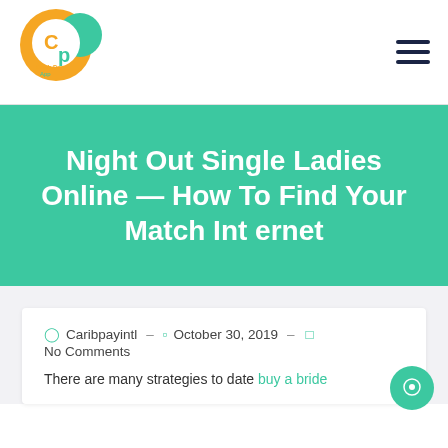[Figure (logo): Carib Pay App logo — orange and teal circular icon with 'cp' letters and 'Carib Pay App' text]
Night Out Single Ladies Online — How To Find Your Match Internet
Caribpayintl – October 30, 2019 – No Comments
There are many strategies to date buy a bride